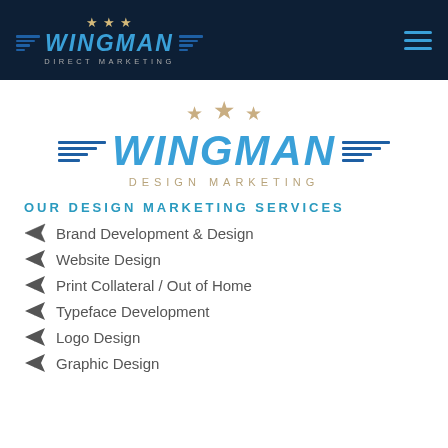Wingman Direct Marketing - header navigation bar
[Figure (logo): Wingman Design Marketing logo with wings, stars, and text 'WINGMAN DESIGN MARKETING']
OUR DESIGN MARKETING SERVICES
Brand Development & Design
Website Design
Print Collateral / Out of Home
Typeface Development
Logo Design
Graphic Design